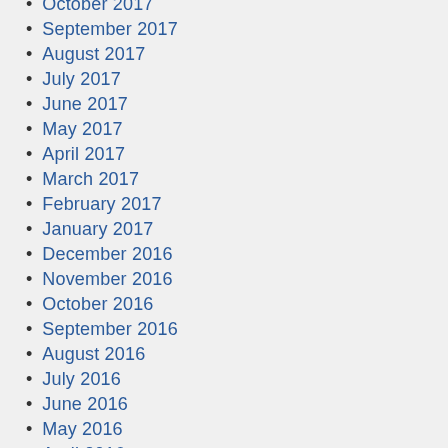October 2017
September 2017
August 2017
July 2017
June 2017
May 2017
April 2017
March 2017
February 2017
January 2017
December 2016
November 2016
October 2016
September 2016
August 2016
July 2016
June 2016
May 2016
April 2016
March 2016
February 2016